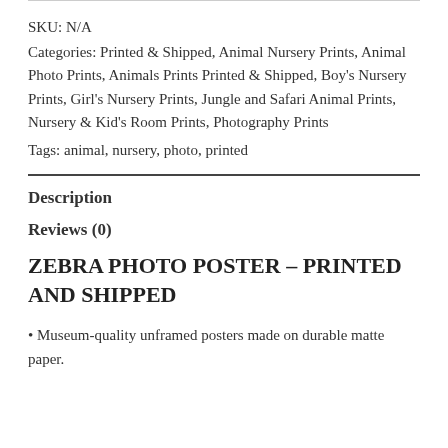SKU: N/A
Categories: Printed & Shipped, Animal Nursery Prints, Animal Photo Prints, Animals Prints Printed & Shipped, Boy's Nursery Prints, Girl's Nursery Prints, Jungle and Safari Animal Prints, Nursery & Kid's Room Prints, Photography Prints
Tags: animal, nursery, photo, printed
Description
Reviews (0)
ZEBRA PHOTO POSTER – PRINTED AND SHIPPED
• Museum-quality unframed posters made on durable matte paper.